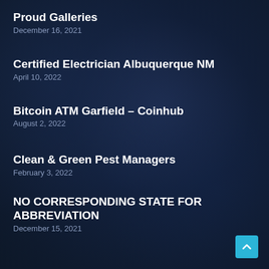Proud Galleries
December 16, 2021
Certified Electrician Albuquerque NM
April 10, 2022
Bitcoin ATM Garfield – Coinhub
August 2, 2022
Clean & Green Pest Managers
February 3, 2022
NO CORRESPONDING STATE FOR ABBREVIATION
December 15, 2021